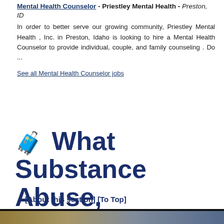Mental Health Counselor - Priestley Mental Health - Preston, ID
In order to better serve our growing community, Priestley Mental Health , Inc. in Preston, Idaho is looking to hire a Mental Health Counselor to provide individual, couple, and family counseling . Do ...
See all Mental Health Counselor jobs
🧳 What Substance Abuse, Behavioral Disorder, and Mental Health Counselors Do
[About this section] [To Top]
[Figure (photo): Dark header photo strip with a person visible at the bottom edge]